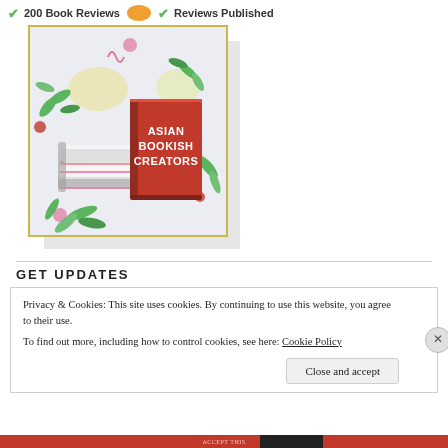200 Book Reviews   Reviews Published
[Figure (illustration): Illustration of stacked books with 'Asian Bookish Creators' text on the cover of a red book, surrounded by floral decorations on a light background with a gold border.]
GET UPDATES
Privacy & Cookies: This site uses cookies. By continuing to use this website, you agree to their use.
To find out more, including how to control cookies, see here: Cookie Policy
Close and accept